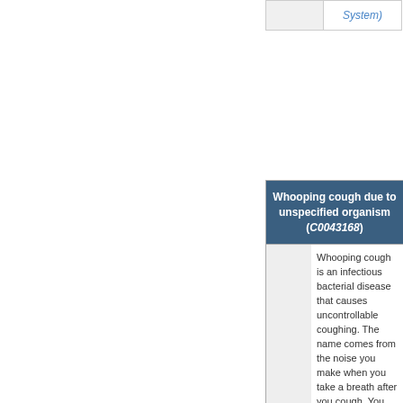|  | System) |
| --- | --- |
|  |  |
| Whooping cough due to unspecified organism (C0043168) |
| --- |
|  | Whooping cough is an infectious bacterial disease that causes uncontrollable coughing. The name comes from the noise you make when you take a breath after you cough. You may have choking spells or may cough so hard that you vomit.

Anyone can get whooping cough, but it is more common in infants and children. It's especially dangerous for infants. The coughing spells |